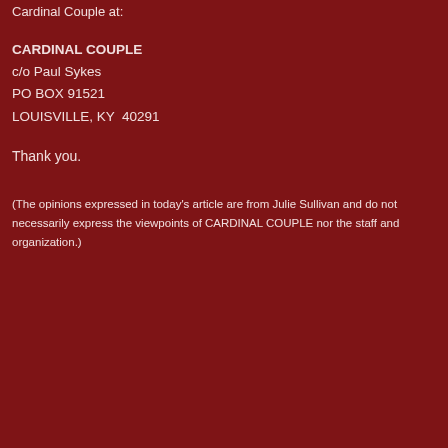Cardinal Couple at:
CARDINAL COUPLE
c/o Paul Sykes
PO BOX 91521
LOUISVILLE, KY  40291
Thank you.
(The opinions expressed in today's article are from Julie Sullivan and do not necessarily express the viewpoints of CARDINAL COUPLE nor the staff and organization.)